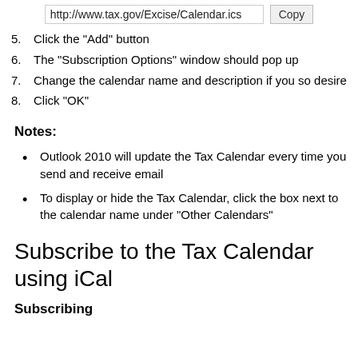http://www.tax.gov/Excise/Calendar.ics  Copy
5. Click the "Add" button
6. The "Subscription Options" window should pop up
7. Change the calendar name and description if you so desire
8. Click "OK"
Notes:
Outlook 2010 will update the Tax Calendar every time you send and receive email
To display or hide the Tax Calendar, click the box next to the calendar name under "Other Calendars"
Subscribe to the Tax Calendar using iCal
Subscribing